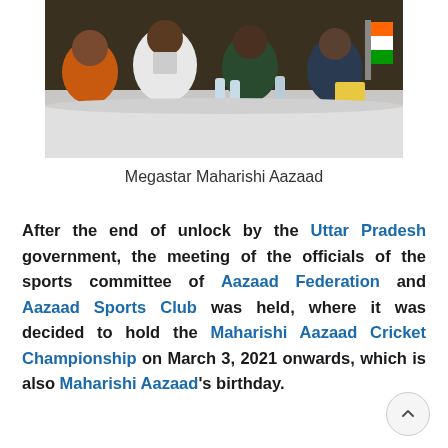[Figure (photo): A group of people seated at a table at an event or meeting, with water bottles and items on the table. People are wearing colorful clothing.]
Megastar Maharishi Aazaad
After the end of unlock by the Uttar Pradesh government, the meeting of the officials of the sports committee of Aazaad Federation and Aazaad Sports Club was held, where it was decided to hold the Maharishi Aazaad Cricket Championship on March 3, 2021 onwards, which is also Maharishi Aazaad's birthday.